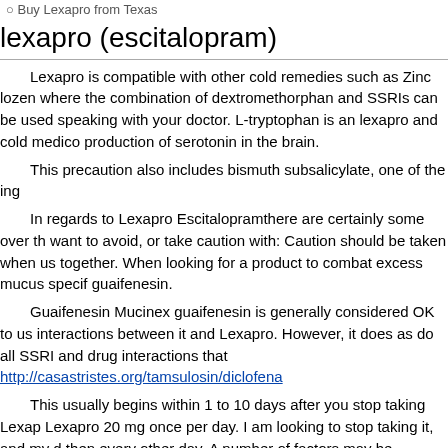Buy Lexapro from Texas
lexapro (escitalopram)
Lexapro is compatible with other cold remedies such as Zinc lozen where the combination of dextromethorphan and SSRIs can be used speaking with your doctor. L-tryptophan is an lexapro and cold medic production of serotonin in the brain.
This precaution also includes bismuth subsalicylate, one of the ing
In regards to Lexapro Escitalopramthere are certainly some over th want to avoid, or take caution with: Caution should be taken when us together. When looking for a product to combat excess mucus specif guaifenesin.
Guaifenesin Mucinex guaifenesin is generally considered OK to us interactions between it and Lexapro. However, it does as do all SSRI and drug interactions that http://casastristes.org/tamsulosin/diclofena
This usually begins within 1 to 10 days after you stop taking Lexap Lexapro 20 mg once per day. I am looking to stop taking it, and my d then every other day. A number of factors may be involved with the sy between adderall and lexapro.
i hate my depression meds (lexapro experience)